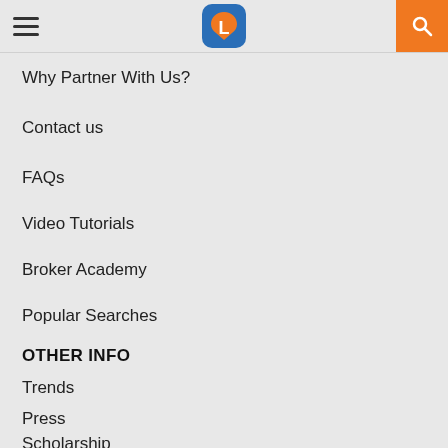[Navigation header with hamburger menu, logo, and search button]
Why Partner With Us?
Contact us
FAQs
Video Tutorials
Broker Academy
Popular Searches
OTHER INFO
Trends
Press
Scholarship
Success Stories
The Outlook